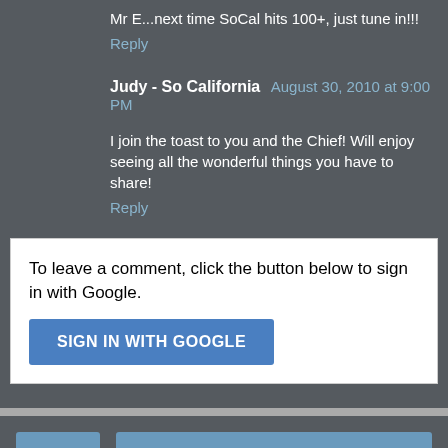Mr E...next time SoCal hits 100+, just tune in!!!
Reply
Judy - So California  August 30, 2010 at 9:00 PM
I join the toast to you and the Chief! Will enjoy seeing all the wonderful things you have to share!
Reply
To leave a comment, click the button below to sign in with Google.
SIGN IN WITH GOOGLE
Home
View web version
About Me